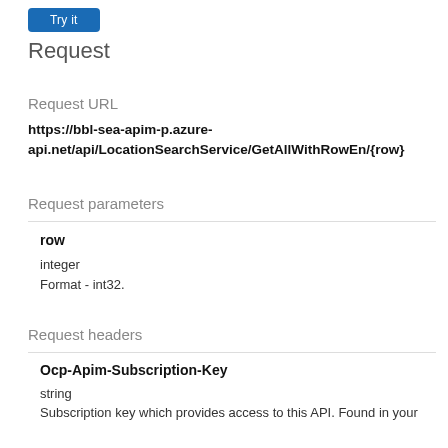[Figure (other): Blue 'Try it' button]
Request
Request URL
https://bbl-sea-apim-p.azure-api.net/api/LocationSearchService/GetAllWithRowEn/{row}
Request parameters
row
integer
Format - int32.
Request headers
Ocp-Apim-Subscription-Key
string
Subscription key which provides access to this API. Found in your